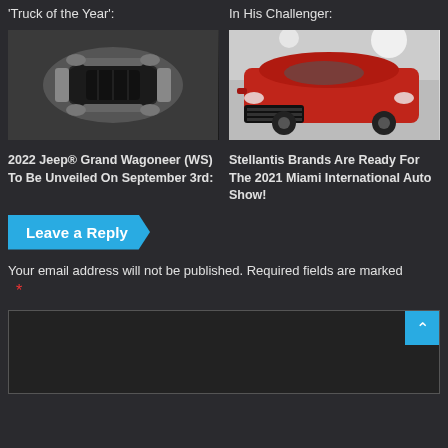'Truck of the Year':
In His Challenger:
[Figure (photo): Top-down aerial view of a white Jeep Grand Wagoneer with sunroof open, showing dark interior, photographed from above on a dark background.]
[Figure (photo): Red Dodge Durango SUV photographed from the front-right angle at what appears to be an auto show, with bright showroom lighting in the background.]
2022 Jeep® Grand Wagoneer (WS) To Be Unveiled On September 3rd:
Stellantis Brands Are Ready For The 2021 Miami International Auto Show!
Leave a Reply
Your email address will not be published. Required fields are marked *